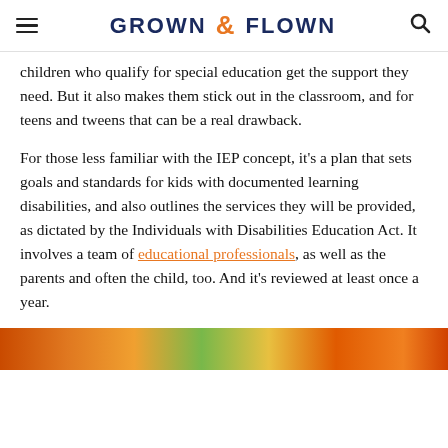GROWN & FLOWN
children who qualify for special education get the support they need. But it also makes them stick out in the classroom, and for teens and tweens that can be a real drawback.
For those less familiar with the IEP concept, it's a plan that sets goals and standards for kids with documented learning disabilities, and also outlines the services they will be provided, as dictated by the Individuals with Disabilities Education Act. It involves a team of educational professionals, as well as the parents and often the child, too. And it's reviewed at least once a year.
[Figure (photo): Colorful gradient image strip at the bottom of the page with warm orange, green, and yellow tones.]